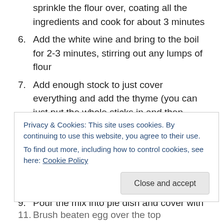sprinkle the flour over, coating all the ingredients and cook for about 3 minutes
6. Add the white wine and bring to the boil for 2-3 minutes, stirring out any lumps of flour
7. Add enough stock to just cover everything and add the thyme (you can just put the whole sticks in and then remove them later, or pick off the leaves, which I prefer)
8. Cover and simmer for 20 minutes – the stock should have reduced and become a nice gravy
9. Pour the mix into pie dish and cover with the sheet of
Privacy & Cookies: This site uses cookies. By continuing to use this website, you agree to their use.
To find out more, including how to control cookies, see here: Cookie Policy
11. Brush beaten egg over the top